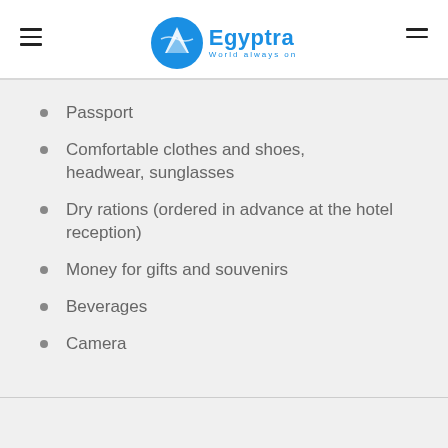Egyptra — World always on
Passport
Comfortable clothes and shoes, headwear, sunglasses
Dry rations (ordered in advance at the hotel reception)
Money for gifts and souvenirs
Beverages
Camera